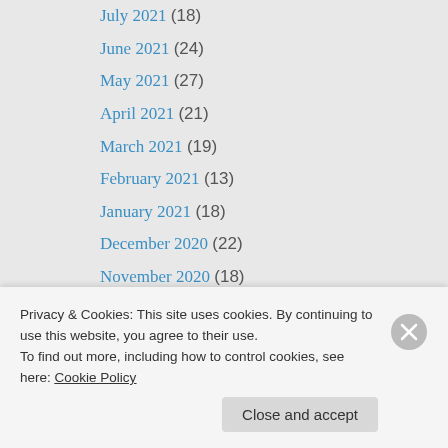July 2021 (18)
June 2021 (24)
May 2021 (27)
April 2021 (21)
March 2021 (19)
February 2021 (13)
January 2021 (18)
December 2020 (22)
November 2020 (18)
October 2020 (10)
September 2020 (9)
August 2020 (18)
July 2020 (19)
June 2020 (11)
Privacy & Cookies: This site uses cookies. By continuing to use this website, you agree to their use.
To find out more, including how to control cookies, see here: Cookie Policy
Close and accept